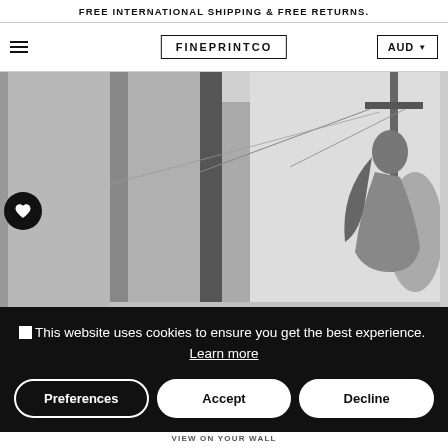FREE INTERNATIONAL SHIPPING & FREE RETURNS.
[Figure (logo): FINEPRINTCO logo in bordered box]
[Figure (photo): Black and white photograph of a woman standing outdoors near a building and utility pole]
This website uses cookies to ensure you get the best experience. Learn more
Preferences
Accept
Decline
VIEW ON YOUR WALL